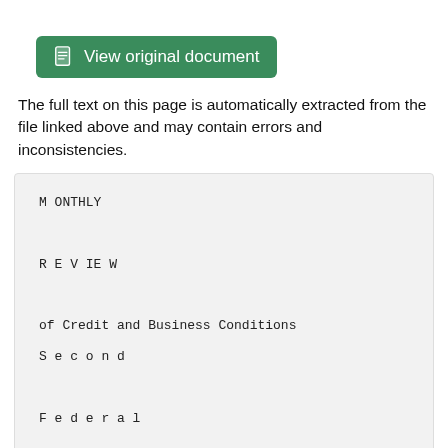[Figure (other): Green button labeled 'View original document' with a document icon]
The full text on this page is automatically extracted from the file linked above and may contain errors and inconsistencies.
M ONTHLY

R E V IE W

of Credit and Business Conditions
S e c o n d

F e d e r a l

R e s e r v e

D is tr ic t

A ugust 1, 1938

Federal E eserve Bank, New York